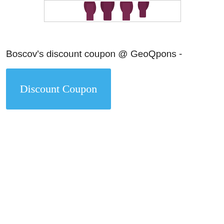[Figure (photo): Partial view of dark maroon/burgundy lipstick products against a white background, cropped at the top of the page]
Boscov's discount coupon @ GeoQpons -
Discount Coupon